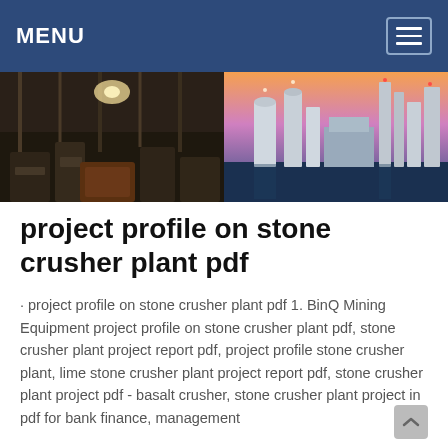MENU
[Figure (photo): Two industrial photos side by side: left shows interior of a mining/crushing plant with machinery and overhead lighting; right shows an industrial facility with silos and towers at dusk/dawn with a colorful sky.]
project profile on stone crusher plant pdf
· project profile on stone crusher plant pdf 1. BinQ Mining Equipment project profile on stone crusher plant pdf, stone crusher plant project report pdf, project profile stone crusher plant, lime stone crusher plant project report pdf, stone crusher plant project pdf - basalt crusher, stone crusher plant project in pdf for bank finance, management